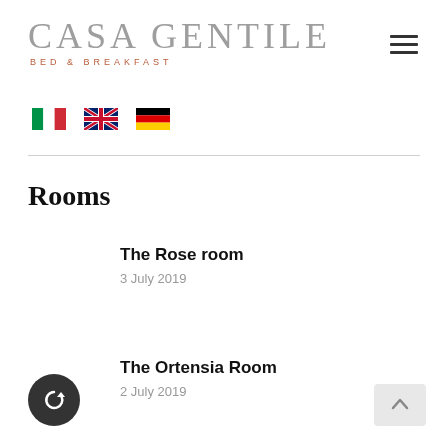CASA GENTILE BED & BREAKFAST
[Figure (illustration): Three national flag icons: Italian flag (green, white, red vertical stripes), UK flag (Union Jack), German flag (black, red, gold horizontal stripes)]
Rooms
The Rose room
3 July 2019
The Ortensia Room
2 July 2019